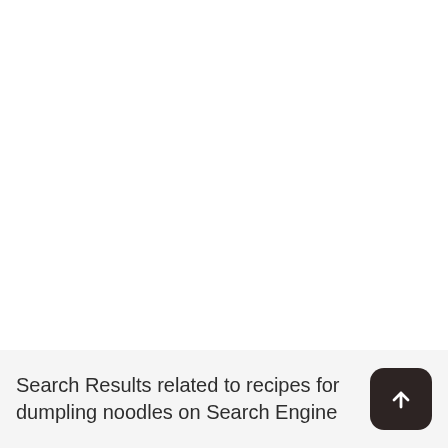Search Results related to recipes for dumpling noodles on Search Engine